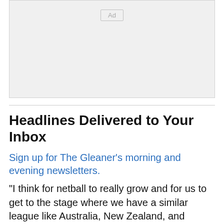[Figure (other): Advertisement placeholder box with 'Ad' label in center-top area]
Headlines Delivered to Your Inbox
Sign up for The Gleaner's morning and evening newsletters.
“I think for netball to really grow and for us to get to the stage where we have a similar league like Australia, New Zealand, and England, it is important for this semi-pro league to happen,” she said. “The idea